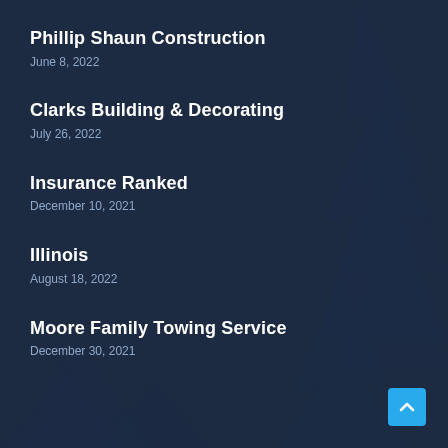Phillip Shaun Construction
June 8, 2022
Clarks Building & Decorating
July 26, 2022
Insurance Ranked
December 10, 2021
Illinois
August 18, 2022
Moore Family Towing Service
December 30, 2021